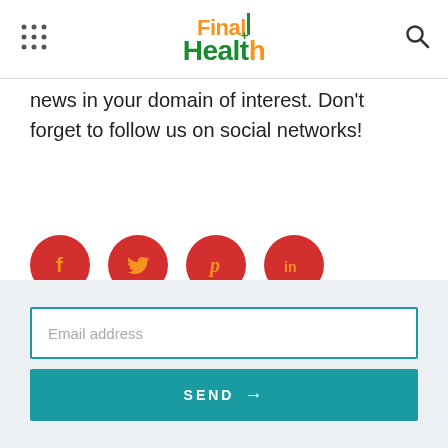FinalHealth
news in your domain of interest. Don't forget to follow us on social networks!
[Figure (illustration): Four red circular social media icons: Facebook (f), Twitter (bird), Pinterest (p), LinkedIn (in)]
[Figure (other): Email subscription form with 'Email address' input field and 'SEND →' button on teal background]